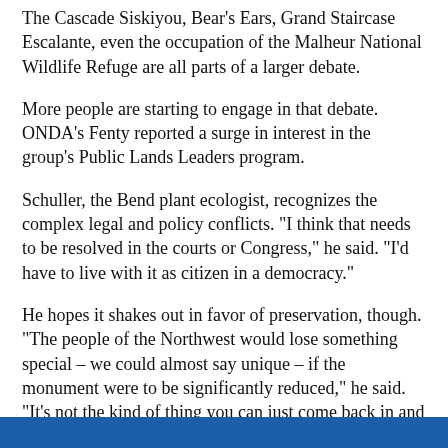The Cascade Siskiyou, Bear's Ears, Grand Staircase Escalante, even the occupation of the Malheur National Wildlife Refuge are all parts of a larger debate.
More people are starting to engage in that debate. ONDA's Fenty reported a surge in interest in the group's Public Lands Leaders program.
Schuller, the Bend plant ecologist, recognizes the complex legal and policy conflicts. "I think that needs to be resolved in the courts or Congress," he said. "I'd have to live with it as citizen in a democracy."
He hopes it shakes out in favor of preservation, though. "The people of the Northwest would lose something special – we could almost say unique – if the monument were to be significantly reduced," he said. "It's not the kind of thing you can just come back in and rebuild if we allow it to be harmed."